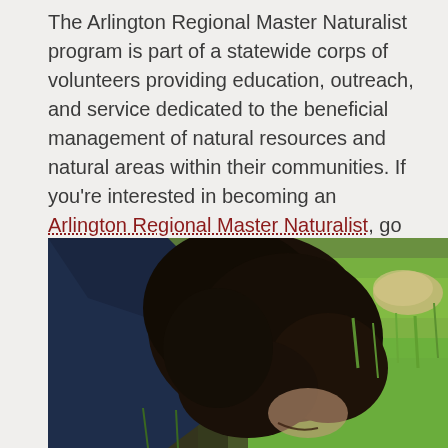The Arlington Regional Master Naturalist program is part of a statewide corps of volunteers providing education, outreach, and service dedicated to the beneficial management of natural resources and natural areas within their communities. If you're interested in becoming an Arlington Regional Master Naturalist, go to http://armn.org/contact-us/
[Figure (photo): A person with dark curly hair bending down close to water or ground near green grass, wearing a dark blue top, examining something in a natural outdoor setting.]